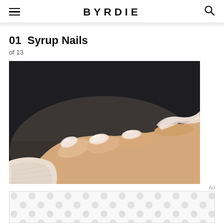BYRDIE
01 Syrup Nails
of 13
[Figure (photo): Close-up photo of a hand with long, shiny, translucent pinkish-white nails (syrup nails style) against a dark background.]
[Figure (other): Advertisement banner with grey polka dot pattern]